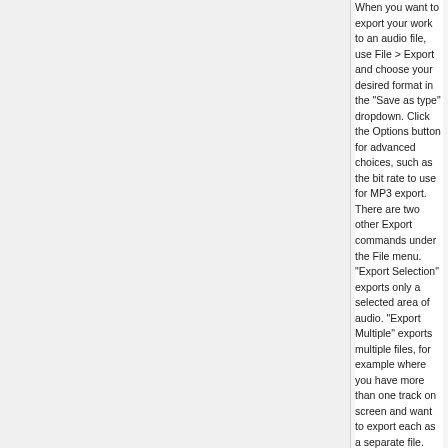When you want to export your work to an audio file, use File > Export and choose your desired format in the "Save as type" dropdown. Click the Options button for advanced choices, such as the bit rate to use for MP3 export. There are two other Export commands under the File menu. "Export Selection" exports only a selected area of audio. "Export Multiple" exports multiple files, for example where you have more than one track on screen and want to export each as a separate file.
Before you can export as MP3, you need to add the LAME MP3 encoder to your computer. For help with LAME, see Lame_Installation. There is also some help on how to burn to a CD.